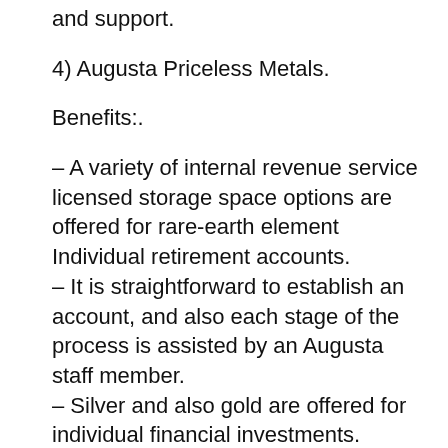and support.
4) Augusta Priceless Metals.
Benefits:.
– A variety of internal revenue service licensed storage space options are offered for rare-earth element Individual retirement accounts.
– It is straightforward to establish an account, and also each stage of the process is assisted by an Augusta staff member.
– Silver and also gold are offered for individual financial investments.
Downsides:.